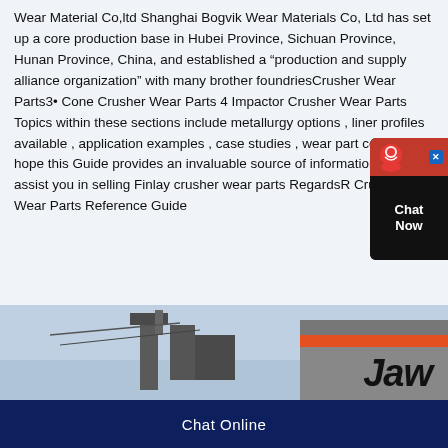Wear Material Co,ltd Shanghai Bogvik Wear Materials Co, Ltd has set up a core production base in Hubei Province, Sichuan Province, Hunan Province, China, and established a “production and supply alliance organization” with many brother foundriesCrusher Wear Parts3• Cone Crusher Wear Parts 4 Impactor Crusher Wear Parts Topics within these sections include metallurgy options , liner profiles available , application examples , case studies , wear part codes etc I hope this Guide provides an invaluable source of information that will assist you in selling Finlay crusher wear parts RegardsR Crusher Wear Parts Reference Guide
[Figure (photo): Photo of industrial crushing machinery with an orange-red stripe on a building structure, partially shown with text 'Jaw' visible]
Chat Online